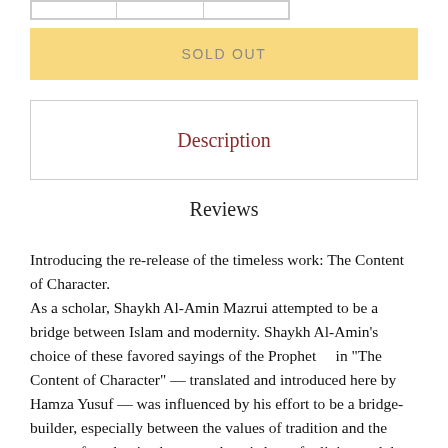|  |
SOLD OUT
Description
Reviews
Introducing the re-release of the timeless work: The Content of Character.
As a scholar, Shaykh Al-Amin Mazrui attempted to be a bridge between Islam and modernity. Shaykh Al-Amin's choice of these favored sayings of the Prophet    in "The Content of Character" — translated and introduced here by Hamza Yusuf — was influenced by his effort to be a bridge-builder, especially between the values of tradition and the norms of modernity, between the wisdom of religion and the compassion of humanity.